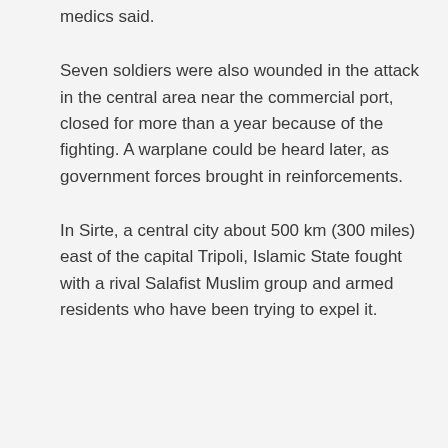medics said.
Seven soldiers were also wounded in the attack in the central area near the commercial port, closed for more than a year because of the fighting. A warplane could be heard later, as government forces brought in reinforcements.
In Sirte, a central city about 500 km (300 miles) east of the capital Tripoli, Islamic State fought with a rival Salafist Muslim group and armed residents who have been trying to expel it.